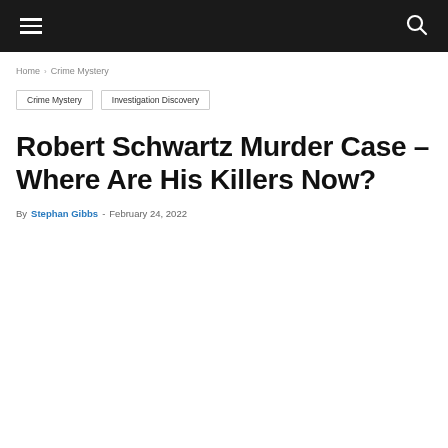≡  🔍
Home › Crime Mystery
Crime Mystery  Investigation Discovery
Robert Schwartz Murder Case – Where Are His Killers Now?
By Stephan Gibbs - February 24, 2022